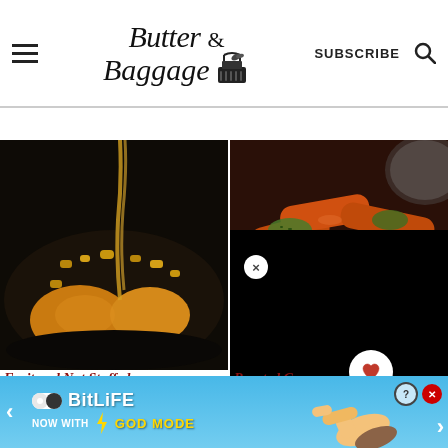Butter & Baggage — SUBSCRIBE
[Figure (photo): Food photo left: honey being drizzled over roasted acorn squash with nuts on a dark pan]
[Figure (photo): Food photo right: glazed roasted carrots with herb sauce on a dark background]
Fruit and Nut Stuffed Acorn Squash
Roasted Carrots
[Figure (screenshot): Advertisement banner: BitLife NOW WITH GOD MODE with yellow lightning bolt and pointing hand graphic]